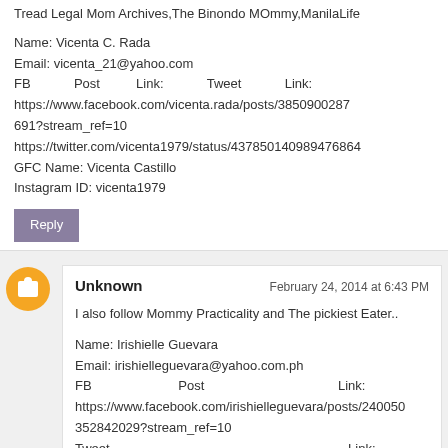Tread Legal Mom Archives, The Binondo MOmmy, ManilaLife

Name: Vicenta C. Rada
Email: vicenta_21@yahoo.com
FB Post Link: Tweet Link:
https://www.facebook.com/vicenta.rada/posts/3850900287691?stream_ref=10
https://twitter.com/vicenta1979/status/437850140989476864
GFC Name: Vicenta Castillo
Instagram ID: vicenta1979
Reply
Unknown
February 24, 2014 at 6:43 PM

I also follow Mommy Practicality and The pickiest Eater..

Name: Irishielle Guevara
Email: irishielleguevara@yahoo.com.ph
FB Post Link:
https://www.facebook.com/irishielleguevara/posts/240050352842029?stream_ref=10
Tweet Link:
https://twitter.com/ayishguevara/status/43789341728508313​6